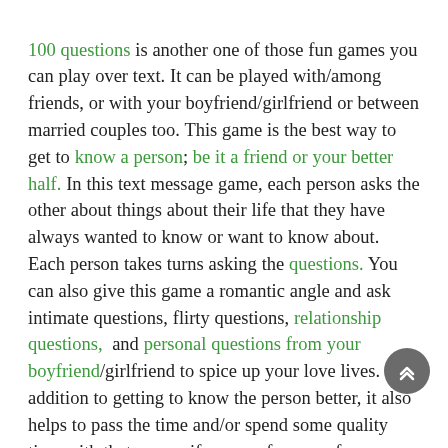100 questions is another one of those fun games you can play over text. It can be played with/among friends, or with your boyfriend/girlfriend or between married couples too. This game is the best way to get to know a person; be it a friend or your better half. In this text message game, each person asks the other about things about their life that they have always wanted to know or want to know about. Each person takes turns asking the questions. You can also give this game a romantic angle and ask intimate questions, flirty questions, relationship questions,  and personal questions from your boyfriend/girlfriend to spice up your love lives. In addition to getting to know the person better, it also helps to pass the time and/or spend some quality time with that person if you are far away from him/her and are missing him/her.